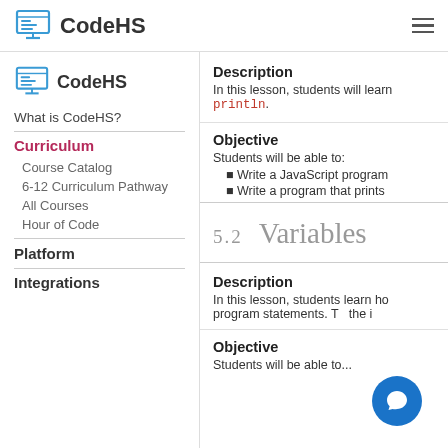CodeHS
[Figure (logo): CodeHS logo with monitor icon in left sidebar]
What is CodeHS?
Curriculum
Course Catalog
6-12 Curriculum Pathway
All Courses
Hour of Code
Platform
Integrations
Description
In this lesson, students will learn println.
Objective
Students will be able to:
Write a JavaScript program
Write a program that prints
5.2 Variables
Description
In this lesson, students learn how program statements. T the i
Objective
Students will be able to...